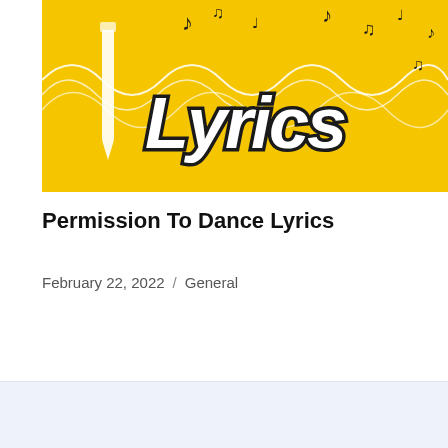[Figure (illustration): Yellow background illustration with music notes, white wavy sound wave lines, a white pencil, and stylized bold black-and-white 'Lyrics' text in the center]
Permission To Dance Lyrics
February 22, 2022 / General